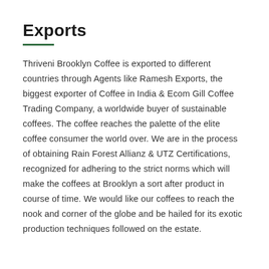Exports
Thriveni Brooklyn Coffee is exported to different countries through Agents like Ramesh Exports, the biggest exporter of Coffee in India & Ecom Gill Coffee Trading Company, a worldwide buyer of sustainable coffees. The coffee reaches the palette of the elite coffee consumer the world over. We are in the process of obtaining Rain Forest Allianz & UTZ Certifications, recognized for adhering to the strict norms which will make the coffees at Brooklyn a sort after product in course of time. We would like our coffees to reach the nook and corner of the globe and be hailed for its exotic production techniques followed on the estate.